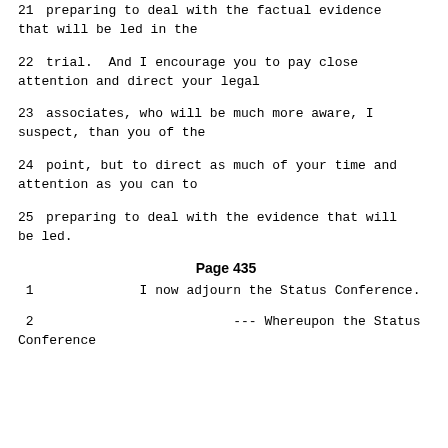21     preparing to deal with the factual evidence that will be led in the
22     trial.  And I encourage you to pay close attention and direct your legal
23     associates, who will be much more aware, I suspect, than you of the
24     point, but to direct as much of your time and attention as you can to
25     preparing to deal with the evidence that will be led.
Page 435
1                    I now adjourn the Status Conference.
2                                   --- Whereupon the Status Conference